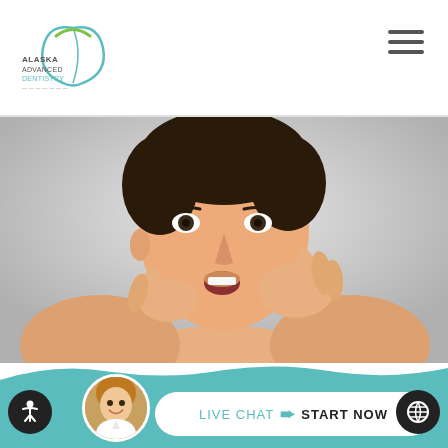Alaska Advanced Dentistry
[Figure (photo): Young man with mouth open, pressing fingers against his jaw/cheek area, suggesting jaw pain (TMJ disorder illustration). Light gray background.]
Options For TMJ Disorder Treatment
You may not think much about TMJ disorder unless a dentist diagnoses you with it. This is a serious condition that can cause much pain and
[Figure (photo): Live chat widget at bottom of page showing a female chat agent avatar, with LIVE CHAT and START NOW button in a white rounded pill shape on a teal background.]